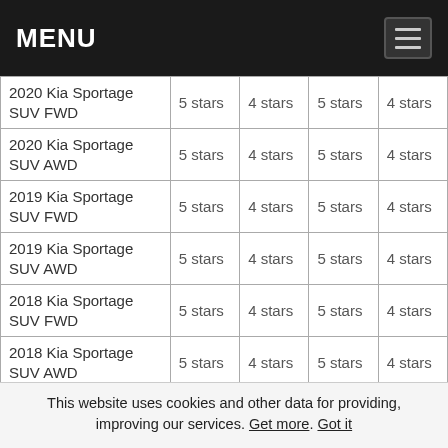MENU
| 2020 Kia Sportage SUV FWD | 5 stars | 4 stars | 5 stars | 4 stars |
| 2020 Kia Sportage SUV AWD | 5 stars | 4 stars | 5 stars | 4 stars |
| 2019 Kia Sportage SUV FWD | 5 stars | 4 stars | 5 stars | 4 stars |
| 2019 Kia Sportage SUV AWD | 5 stars | 4 stars | 5 stars | 4 stars |
| 2018 Kia Sportage SUV FWD | 5 stars | 4 stars | 5 stars | 4 stars |
| 2018 Kia Sportage SUV AWD | 5 stars | 4 stars | 5 stars | 4 stars |
| 2017 Kia Sportage SUV FWD | 5 stars | 4 stars | 5 stars | 4 stars |
This website uses cookies and other data for providing, improving our services. Get more. Got it